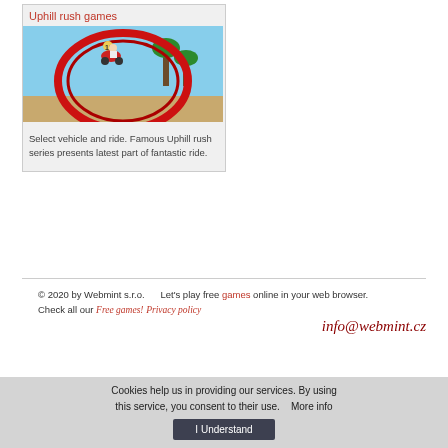Uphill rush games
[Figure (photo): Screenshot of Uphill Rush game showing a motorcyclist on a roller coaster loop with tropical background]
Select vehicle and ride. Famous Uphill rush series presents latest part of fantastic ride.
© 2020 by Webmint s.r.o.   Let's play free games online in your web browser. Check all our Free games! Privacy policy   info@webmint.cz
Cookies help us in providing our services. By using this service, you consent to their use.   More info